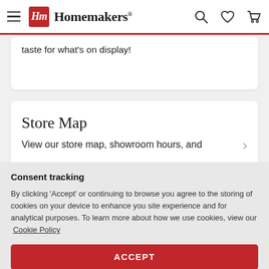Homemakers
taste for what's on display!
Store Map
View our store map, showroom hours, and
Consent tracking
By clicking 'Accept' or continuing to browse you agree to the storing of cookies on your device to enhance you site experience and for analytical purposes. To learn more about how we use cookies, view our Cookie Policy
ACCEPT